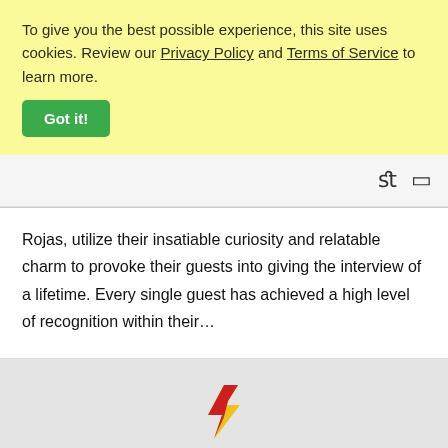To give you the best possible experience, this site uses cookies. Review our Privacy Policy and Terms of Service to learn more.
Got it!
[Figure (screenshot): Navigation toolbar strip with search and bookmark icons on right side]
Rojas, utilize their insatiable curiosity and relatable charm to provoke their guests into giving the interview of a lifetime. Every single guest has achieved a high level of recognition within their...
[Figure (illustration): Lightning bolt icon in red and yellow colors]
Quick Reference Guide